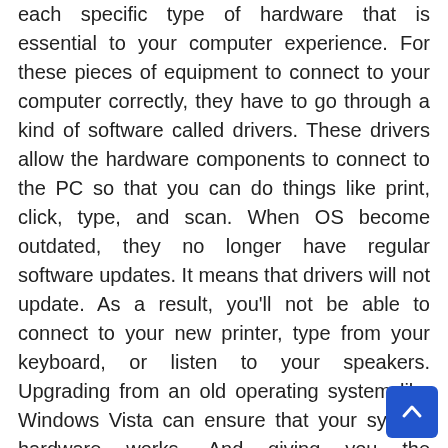each specific type of hardware that is essential to your computer experience. For these pieces of equipment to connect to your computer correctly, they have to go through a kind of software called drivers. These drivers allow the hardware components to connect to the PC so that you can do things like print, click, type, and scan. When OS become outdated, they no longer have regular software updates. It means that drivers will not update. As a result, you'll not be able to connect to your new printer, type from your keyboard, or listen to your speakers. Upgrading from an old operating system like Windows Vista can ensure that your system hardware works. And giving you the confidence that your print jobs will come out right, every time.